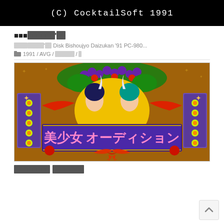[Figure (screenshot): Black banner with white text reading '(C) CocktailSoft 1991' in monospace font]
■■■■■■■■■'■■
■■■■■■■■■'■■ Disk Bishoujyo Daizukan '91 PC-980...
📁 1991 / AVG / ■■■■■■ / ■
[Figure (illustration): Pixel art game title screen for '美少女 オーディション' by CocktailSoft, showing two anime girls with bunny ears surrounded by decorative floral and ribbon elements on a brown/gold background]
■■■■■■■■ ■■■■■■■